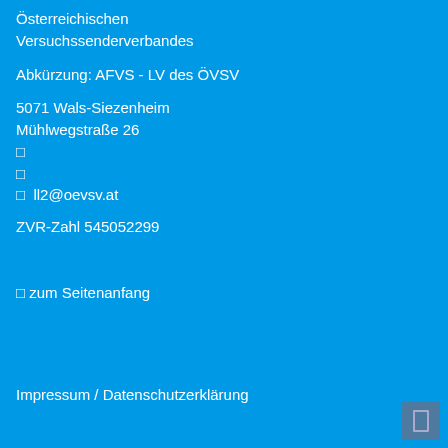Österreichischen
Versuchssenderverbandes
Abkürzung: AFVS - LV des ÖVSV
5071 Wals-Siezenheim
Mühlwegstraße 26
🔲
🔲
🔲  ll2@oevsv.at
ZVR-Zahl 545052299
🔲 zum Seitenanfang
Impressum / Datenschutzerklärung